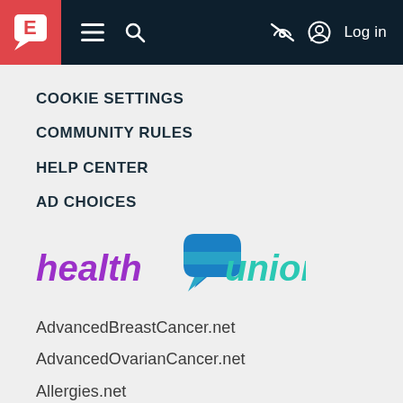E [logo] ≡ 🔍 [eye-off] [user] Log in
COOKIE SETTINGS
COMMUNITY RULES
HELP CENTER
AD CHOICES
[Figure (logo): Health Union logo with purple 'health', blue chat-bubble icon, and teal 'union' text]
AdvancedBreastCancer.net
AdvancedOvarianCancer.net
Allergies.net
AlzheimersDisease.net
AnkylosingSpondylitis.net
Asthma.net